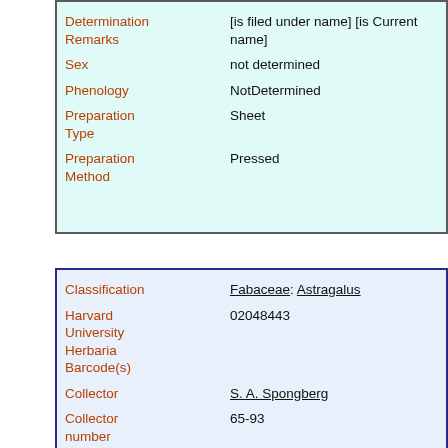| Field | Value |
| --- | --- |
| Determination Remarks | [is filed under name] [is Current name] |
| Sex | not determined |
| Phenology | NotDetermined |
| Preparation Type | Sheet |
| Preparation Method | Pressed |
| Field | Value |
| --- | --- |
| Classification | Fabaceae: Astragalus |
| Harvard University Herbaria Barcode(s) | 02048443 |
| Collector | S. A. Spongberg |
| Collector number | 65-93 |
| Country | United States of America |
| State | Colorado |
| Geography | North America: North America (CA, US, MX) (Region): D |